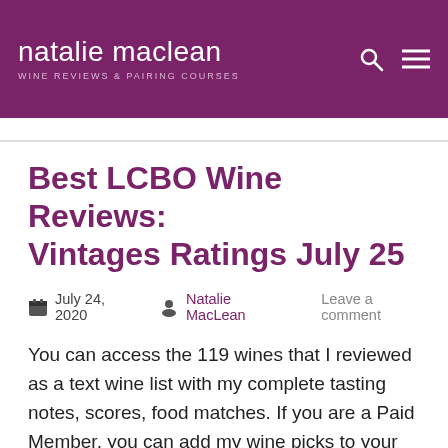natalie maclean — WINE REVIEWS & PAIRING COURSES
Best LCBO Wine Reviews: Vintages Ratings July 25
July 24, 2020   Natalie MacLean   Leave a comment
You can access the 119 wines that I reviewed as a text wine list with my complete tasting notes, scores, food matches. If you are a Paid Member, you can add my wine picks to your custom shopping list with one click and access that list on your smartphone to find the stock for each wine in your closest LCBO store. You can also see my wine reviews for July 11. These are just some of the benefits of supporting out wine community as a Paid